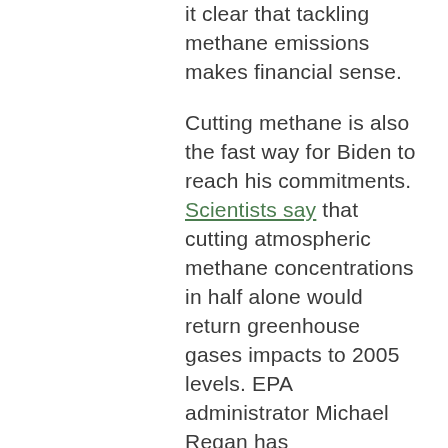it clear that tackling methane emissions makes financial sense.
Cutting methane is also the fast way for Biden to reach his commitments. Scientists say that cutting atmospheric methane concentrations in half alone would return greenhouse gases impacts to 2005 levels. EPA administrator Michael Regan has acknowledged this when he signaled that his administration will go beyond the Obama Administration's 2016 oil and gas methane rules when they draft new regulations in September–as part of President Biden's day 1 Executive Orders.